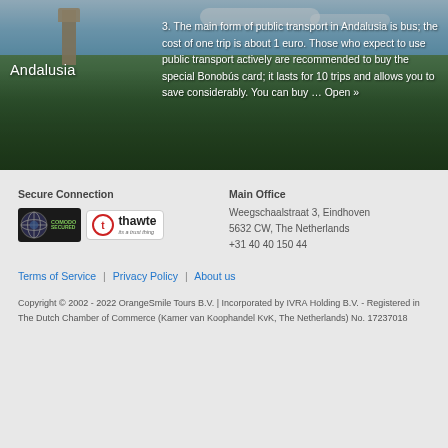[Figure (photo): Aerial photo of Andalusia showing historic tower/church building surrounded by trees and landscape, with blue sky. Title 'Andalusia' overlaid bottom-left.]
3. The main form of public transport in Andalusia is bus; the cost of one trip is about 1 euro. Those who expect to use public transport actively are recommended to buy the special Bonobús card; it lasts for 10 trips and allows you to save considerably. You can buy … Open »
Secure Connection
[Figure (logo): Security badges: 'COMODO SECURED' globe badge and 'thawte - its a trust thing' badge]
Main Office
Weegschaalstraat 3, Eindhoven
5632 CW, The Netherlands
+31 40 40 150 44
Terms of Service | Privacy Policy | About us
Copyright © 2002 - 2022 OrangeSmile Tours B.V. | Incorporated by IVRA Holding B.V. - Registered in The Dutch Chamber of Commerce (Kamer van Koophandel KvK, The Netherlands) No. 17237018